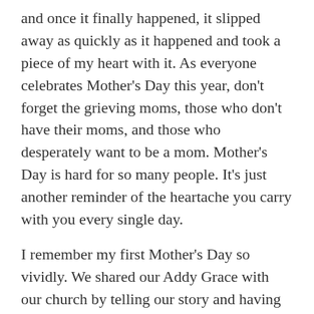and once it finally happened, it slipped away as quickly as it happened and took a piece of my heart with it. As everyone celebrates Mother's Day this year, don't forget the grieving moms, those who don't have their moms, and those who desperately want to be a mom. Mother's Day is hard for so many people. It's just another reminder of the heartache you carry with you every single day.
I remember my first Mother's Day so vividly. We shared our Addy Grace with our church by telling our story and having her dedicated. I got 3 Mother's Days with her here, which is more than we ever thought we would get, but it doesn't make it any easier to face this one without her. I pray this is the only Mother's Day that I have to get through without a child, even though no child can ever replace Addy, I look forward to the day when I can